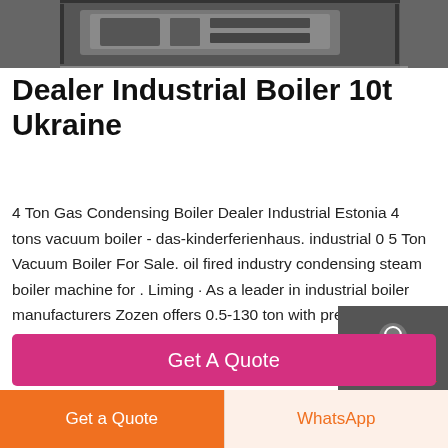[Figure (photo): Black and white photo of an industrial boiler machine]
Dealer Industrial Boiler 10t Ukraine
4 Ton Gas Condensing Boiler Dealer Industrial Estonia 4 tons vacuum boiler - das-kinderferienhaus. industrial 0 5 Ton Vacuum Boiler For Sale. oil fired industry condensing steam boiler machine for . Liming · As a leader in industrial boiler manufacturers Zozen offers 0.5-130 ton with pressure up to 9.81MPa / 98.1bar industrial gas and oil
[Figure (screenshot): Sidebar panel with Chat, Email, and Contact icons on dark grey background]
Get A Quote
Get a Quote
WhatsApp